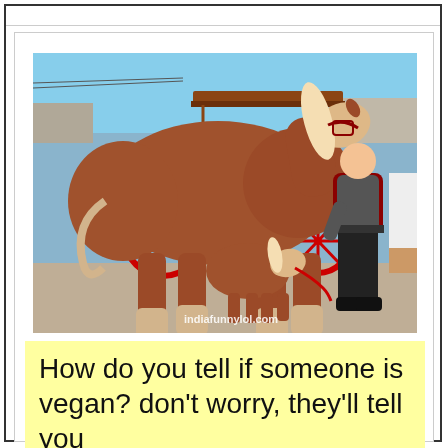[Figure (photo): A large brown draft horse standing next to a very small miniature horse/foal, with red-wheeled carriage in background and a person in black clothing holding a red lead rope. Watermark reads 'indiafunnylol.com'.]
How do you tell if someone is vegan? don't worry, they'll tell you